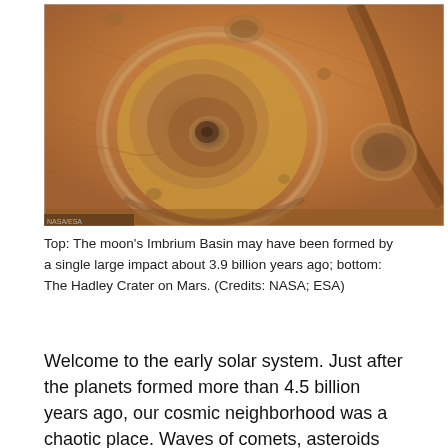[Figure (photo): Aerial/orbital photograph of the Hadley Crater on Mars showing a large impact crater with concentric rings and a central depression, surrounded by rugged reddish-brown Martian terrain with smaller craters visible.]
Top: The moon's Imbrium Basin may have been formed by a single large impact about 3.9 billion years ago; bottom: The Hadley Crater on Mars. (Credits: NASA; ESA)
Welcome to the early solar system. Just after the planets formed more than 4.5 billion years ago, our cosmic neighborhood was a chaotic place. Waves of comets, asteroids and even proto-planets streamed toward the